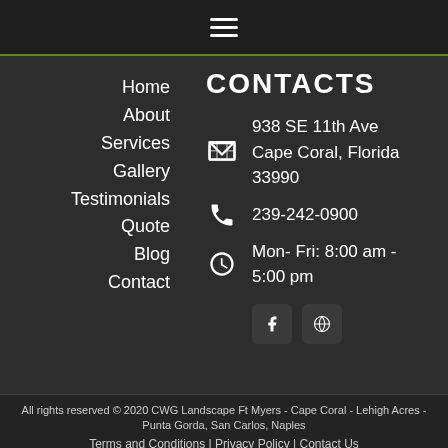☰ (hamburger menu icon)
Home
About
Services
Gallery
Testimonials
Quote
Blog
Contact
CONTACTS
938 SE 11th Ave
Cape Coral, Florida 33990
239-242-0900
Mon- Fri: 8:00 am - 5:00 pm
All rights reserved © 2020 CWG Landscape Ft Myers - Cape Coral - Lehigh Acres - Punta Gorda, San Carlos, Naples
Terms and Conditions | Privacy Policy | Contact Us